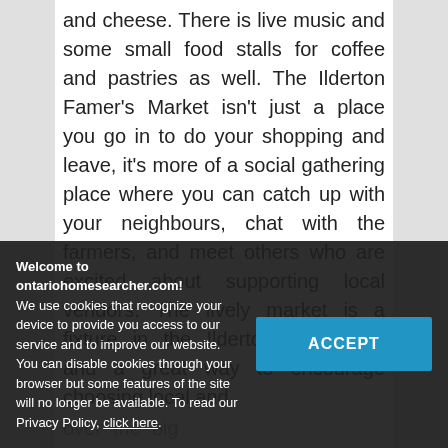and cheese. There is live music and some small food stalls for coffee and pastries as well. The Ilderton Famer's Market isn't just a place you go in to do your shopping and leave, it's more of a social gathering place where you can catch up with your neighbours, chat with the farmers, and meet others who are excited about supporting local vendors. The lively market is a fixture in the Ilderton community and a great way to encourage choosing local and
over the big
of
Ilderton Fall Fair, this is one of the
largest
Welcome to ontariohomesearcher.com! We use cookies that recognize your device to provide you access to our service and to improve our website. You can disable cookies through your browser but some features of the site will no longer be available. To read our Privacy Policy, click here.